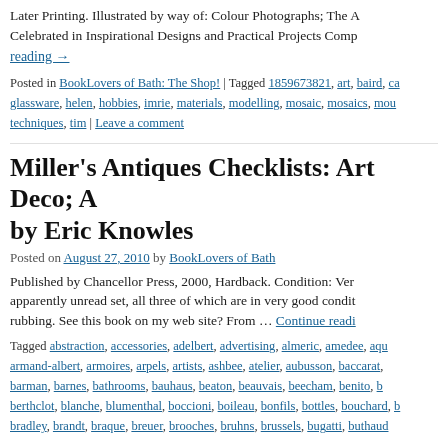Later Printing. Illustrated by way of: Colour Photographs; The A Celebrated in Inspirational Designs and Practical Projects Comp
reading →
Posted in BookLovers of Bath: The Shop! | Tagged 1859673821, art, baird, ca glassware, helen, hobbies, imrie, materials, modelling, mosaic, mosaics, mou techniques, tim | Leave a comment
Miller's Antiques Checklists: Art Deco; Ar by Eric Knowles
Posted on August 27, 2010 by BookLovers of Bath
Published by Chancellor Press, 2000, Hardback. Condition: Ver apparently unread set, all three of which are in very good condit rubbing. See this book on my web site? From … Continue readi
Tagged abstraction, accessories, adelbert, advertising, almeric, amedee, aqu armand-albert, armoires, arpels, artists, ashbee, atelier, aubusson, baccarat, barman, barnes, bathrooms, bauhaus, beaton, beauvais, beecham, benito, b berthclot, blanche, blumenthal, boccioni, boileau, bonfils, bottles, bouchard, b bradley, brandt, braque, breuer, brooches, bruhns, brussels, bugatti, buthaud